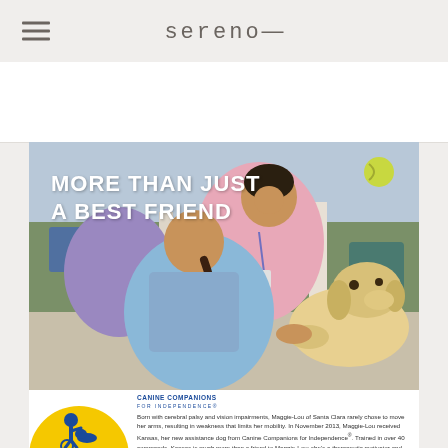sereno—
[Figure (photo): Photo of a young girl with a braid in blue clothing reaching out to pet/shake paws with a yellow Labrador assistance dog, supervised by a woman in pink with a lanyard, outdoors. Overlaid bold white text reads 'MORE THAN JUST A BEST FRIEND'. Canine Companions for Independence circular logo visible at bottom left.]
Born with cerebral palsy and vision impairments, Maggie-Lou of Santa Clara rarely chose to move her arms, resulting in weakness that limits her mobility. In November 2013, Maggie-Lou received Kansas, her new assistance dog from Canine Companions for Independence®. Trained in over 40 commands, Kansas is much more than a friend to Maggie-Lou: she's a therapeutic motivator and partner. After just one week with Kansas, Maggie-Lou started extending her arms to pet her. With her assistance dog's help, Maggie-